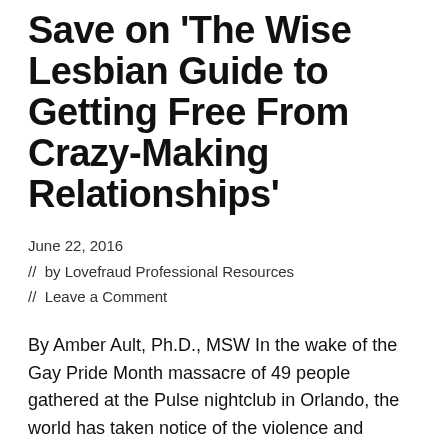Save on 'The Wise Lesbian Guide to Getting Free From Crazy-Making Relationships'
June 22, 2016
// by Lovefraud Professional Resources
// Leave a Comment
By Amber Ault, Ph.D., MSW In the wake of the Gay Pride Month massacre of 49 people gathered at the Pulse nightclub in Orlando, the world has taken notice of the violence and threats of violence lesbian gay, bisexual, and transgender people face on a regular basis.  What's less visible is that the